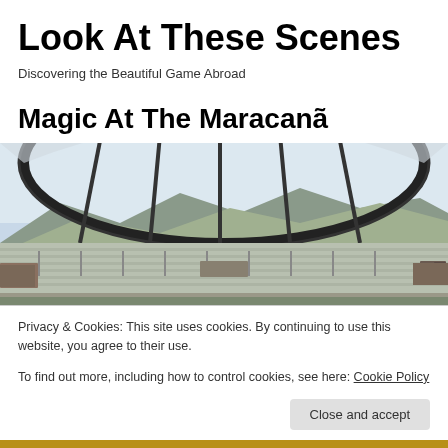Look At These Scenes
Discovering the Beautiful Game Abroad
Magic At The Maracanã
[Figure (photo): Interior view of the Maracanã stadium showing the curved roof structure, empty stands, and mountains visible in the background. Large video screens visible around the stands.]
Privacy & Cookies: This site uses cookies. By continuing to use this website, you agree to their use.
To find out more, including how to control cookies, see here: Cookie Policy
[Figure (photo): Partial view of the bottom of the page showing a crowd at a football stadium with yellow and green colors visible.]